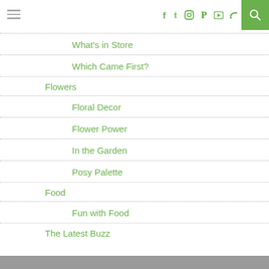Navigation menu with social icons
What's in Store
Which Came First?
Flowers
Floral Decor
Flower Power
In the Garden
Posy Palette
Food
Fun with Food
The Latest Buzz